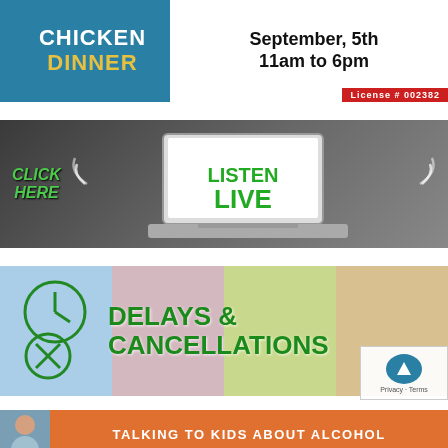[Figure (infographic): Chicken Dinner event banner with teal background, white center area showing 'CHICKEN DINNER' in blue/yellow text, date 'September, 5th 11am to 6pm', red bar with 'License # 002382']
[Figure (infographic): Listen Live banner showing a laptop on a desk with 'CLICK HERE' in green italic text and 'LISTEN LIVE' in large green bold text on white screen, dark background]
[Figure (infographic): Delays & Cancellations banner with four-quadrant colorful background (blue, pink, green, orange), clock and X icons on left, large green bold text reading 'DELAYS & CANCELLATIONS']
[Figure (infographic): Talking to Kids About Alcohol banner with teal background, person image on left, orange bar with white uppercase text 'TALKING TO KIDS ABOUT ALCOHOL']